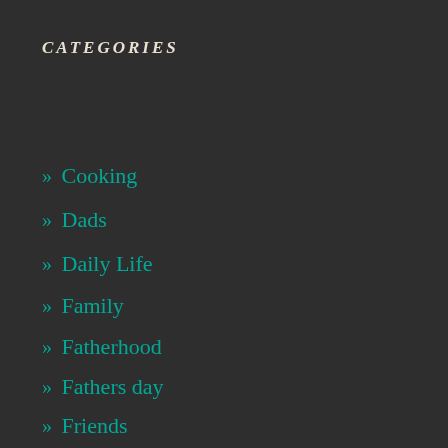CATEGORIES
» Cooking
» Dads
» Daily Life
» Family
» Fatherhood
» Fathers day
» Friends
» Husbands
» Kitchen
» love
» Marriage
» Mentoring